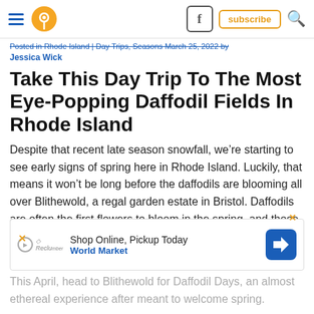Navigation header with hamburger menu, location pin icon, Facebook icon, subscribe button, and search icon
Posted in Rhode Island | Day Trips, Seasons March 25, 2022 by Jessica Wick
Take This Day Trip To The Most Eye-Popping Daffodil Fields In Rhode Island
Despite that recent late season snowfall, we’re starting to see early signs of spring here in Rhode Island. Luckily, that means it won’t be long before the daffodils are blooming all over Blithewold, a regal garden estate in Bristol. Daffodils are often the first flowers to bloom in the spring, and those vibrant, colorful beauties are a wonderful sight after a long, dreadful winter.
[Figure (other): Advertisement banner: Shop Online, Pickup Today - World Market with navigation arrow icon]
This April, head to Blithewold for Daffodil Days, an almost ethereal experience after meant to welcome spring.